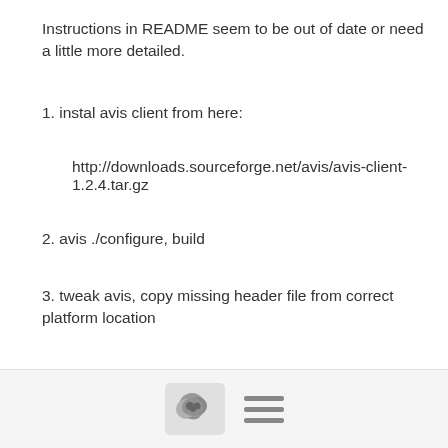Instructions in README seem to be out of date or need a little more detailed.
1. instal avis client from here:
http://downloads.sourceforge.net/avis/avis-client-1.2.4.tar.gz
2. avis ./configure, build
3. tweak avis, copy missing header file from correct platform location
export AVIS_HOME=<where you installed it>
cp ${AVIS_HOME}/platforms/gnu_automake/avis_client_config.h ${AVIS_HOME}/src/include/avis
4. run script to generate configure scrpts in downstream
[Figure (other): Footer bar with chat bubble icon button and hamburger menu icon]